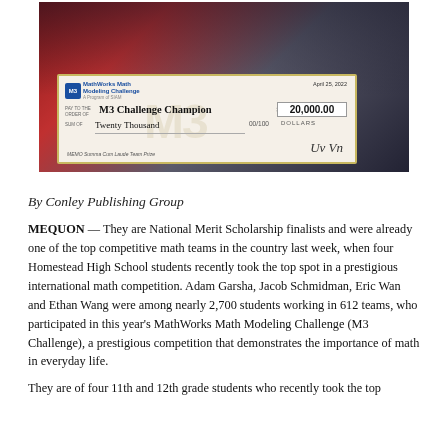[Figure (photo): Three young men in suits holding a large ceremonial check from MathWorks Math Modeling Challenge dated April 25, 2022 for $20,000.00 made out to M3 Challenge Champion, with memo 'Summa Cum Laude Team Prize']
By Conley Publishing Group
MEQUON — They are National Merit Scholarship finalists and were already one of the top competitive math teams in the country last week, when four Homestead High School students recently took the top spot in a prestigious international math competition. Adam Garsha, Jacob Schmidman, Eric Wan and Ethan Wang were among nearly 2,700 students working in 612 teams, who participated in this year's MathWorks Math Modeling Challenge (M3 Challenge), a prestigious competition that demonstrates the importance of math in everyday life.
They are of four 11th and 12th grade students who recently took the top...